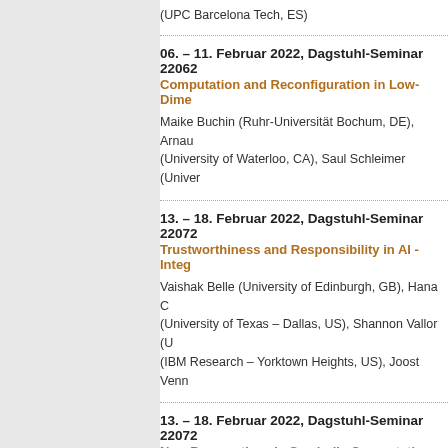(UPC Barcelona Tech, ES)
06. – 11. Februar 2022, Dagstuhl-Seminar 22062
Computation and Reconfiguration in Low-Dime
Maike Buchin (Ruhr-Universität Bochum, DE), Arnau (University of Waterloo, CA), Saul Schleimer (Univer
13. – 18. Februar 2022, Dagstuhl-Seminar 22072
Trustworthiness and Responsibility in AI - Integ
Vaishak Belle (University of Edinburgh, GB), Hana C (University of Texas – Dallas, US), Shannon Vallor (U (IBM Research – Yorktown Heights, US), Joost Venn
13. – 18. Februar 2022, Dagstuhl-Seminar 22072
New Perspectives in Symbolic Computation an
Erika Abraham (RWTH Aachen University, DE), Jam (Coventry University, GB), Alberto Griggio (Bruno Ke
20. – 25. Februar 2022, Dagstuhl-Seminar 22082
Theory of Randomized Optimization Heuristics